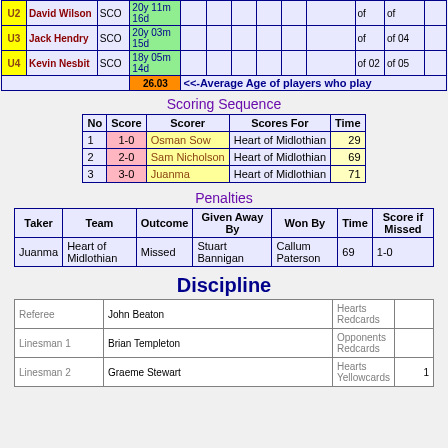|  | Name | Nat | Age |  |  |  |  |  |  |  |  |  | of | of |
| --- | --- | --- | --- | --- | --- | --- | --- | --- | --- | --- | --- | --- | --- | --- |
| U2 | David Wilson | SCO | 20y 11m 16d |  |  |  |  |  |  |  |  |  | of | of |
| U3 | Jack Hendry | SCO | 20y 03m 15d |  |  |  |  |  |  |  |  |  | of | of 04 |
| U4 | Kevin Nesbit | SCO | 18y 05m 14d |  |  |  |  |  |  |  |  |  | of 02 | of 05 |
|  |  |  | 26.03 | <<-Average Age of players who play |
Scoring Sequence
| No | Score | Scorer | Scores For | Time |
| --- | --- | --- | --- | --- |
| 1 | 1-0 | Osman Sow | Heart of Midlothian | 29 |
| 2 | 2-0 | Sam Nicholson | Heart of Midlothian | 69 |
| 3 | 3-0 | Juanma | Heart of Midlothian | 71 |
Penalties
| Taker | Team | Outcome | Given Away By | Won By | Time | Score if Missed |
| --- | --- | --- | --- | --- | --- | --- |
| Juanma | Heart of Midlothian | Missed | Stuart Bannigan | Callum Paterson | 69 | 1-0 |
Discipline
|  |  | Hearts Redcards |  |
| --- | --- | --- | --- |
| Referee | John Beaton | Hearts Redcards |  |
| Linesman 1 | Brian Templeton | Opponents Redcards |  |
| Linesman 2 | Graeme Stewart | Hearts Yellowcards | 1 |